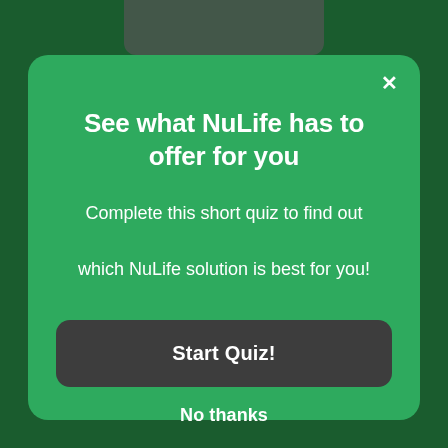See what NuLife has to offer for you
Complete this short quiz to find out which NuLife solution is best for you!
Start Quiz!
No thanks